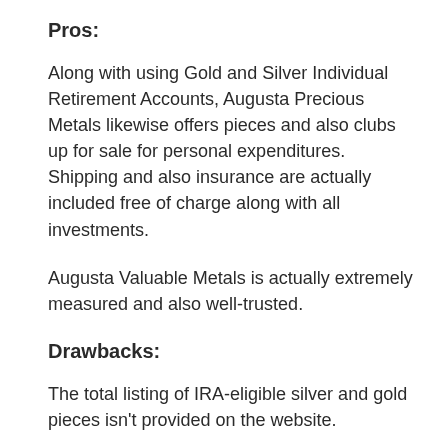Pros:
Along with using Gold and Silver Individual Retirement Accounts, Augusta Precious Metals likewise offers pieces and also clubs up for sale for personal expenditures. Shipping and also insurance are actually included free of charge along with all investments.
Augusta Valuable Metals is actually extremely measured and also well-trusted.
Drawbacks:
The total listing of IRA-eligible silver and gold pieces isn't provided on the website.